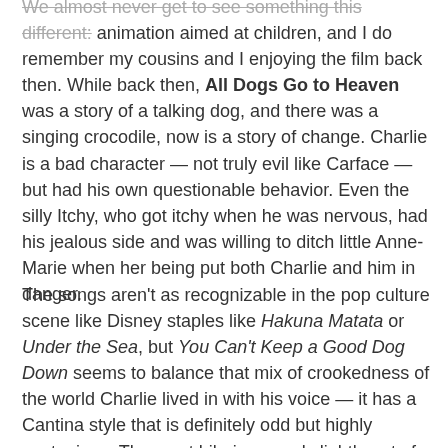We almost never get to see something this different: animation aimed at children, and I do remember my cousins and I enjoying the film back then. While back then, All Dogs Go to Heaven was a story of a talking dog, and there was a singing crocodile, now is a story of change. Charlie is a bad character — not truly evil like Carface — but had his own questionable behavior. Even the silly Itchy, who got itchy when he was nervous, had his jealous side and was willing to ditch little Anne-Marie when her being put both Charlie and him in danger.
The songs aren't as recognizable in the pop culture scene like Disney staples like Hakuna Matata or Under the Sea, but You Can't Keep a Good Dog Down seems to balance that mix of crookedness of the world Charlie lived in with his voice — it has a Cantina style that is definitely odd but highly contagious. The most hilarious, and slightly out of the blue, number is Let's Make Music Together with the giant